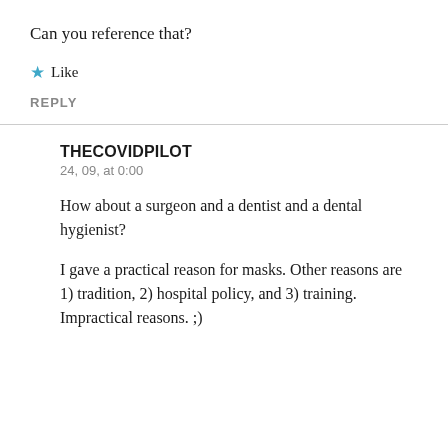Can you reference that?
★ Like
REPLY
THECOVIDPILOT
24, 09, at 0:00
How about a surgeon and a dentist and a dental hygienist?
I gave a practical reason for masks. Other reasons are 1) tradition, 2) hospital policy, and 3) training. Impractical reasons. ;)